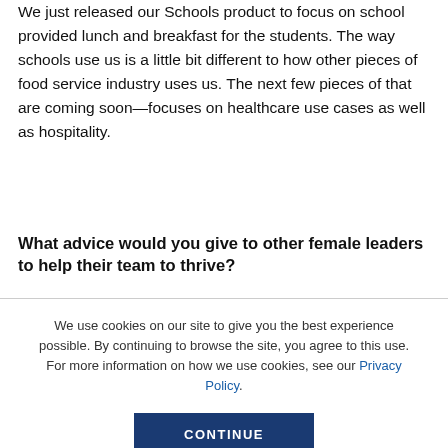We just released our Schools product to focus on school provided lunch and breakfast for the students. The way schools use us is a little bit different to how other pieces of food service industry uses us. The next few pieces of that are coming soon—focuses on healthcare use cases as well as hospitality.
What advice would you give to other female leaders to help their team to thrive?
We use cookies on our site to give you the best experience possible. By continuing to browse the site, you agree to this use. For more information on how we use cookies, see our Privacy Policy.